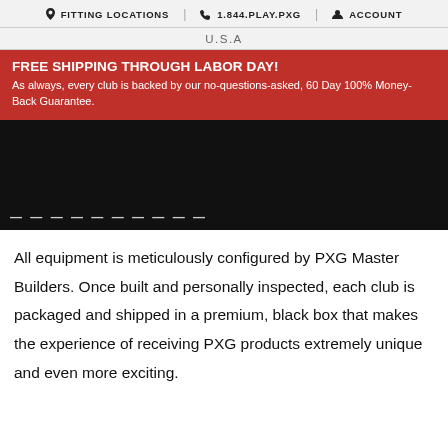FITTING LOCATIONS | 1.844.PLAY.PXG | ACCOUNT
U.S.A
FREE SHIPPING THROUGH LABOR DAY! As always, every club is backed by our no-questions-asked, 60 Day 100% Money-Back Guarantee.
[Figure (photo): Black background promotional image with partial white text visible at bottom]
All equipment is meticulously configured by PXG Master Builders. Once built and personally inspected, each club is packaged and shipped in a premium, black box that makes the experience of receiving PXG products extremely unique and even more exciting.